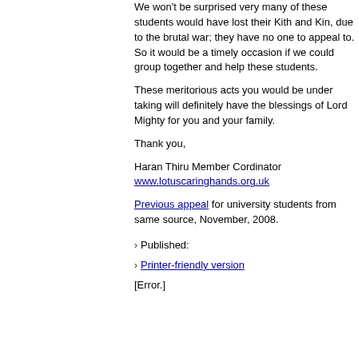We won't be surprised very many of these students would have lost their Kith and Kin, due to the brutal war; they have no one to appeal to. So it would be a timely occasion if we could group together and help these students.
These meritorious acts you would be under taking will definitely have the blessings of Lord Mighty for you and your family.
Thank you,
Haran Thiru Member Cordinator
www.lotuscaringhands.org.uk
Previous appeal for university students from same source, November, 2008.
Published:
Printer-friendly version
[Error.]